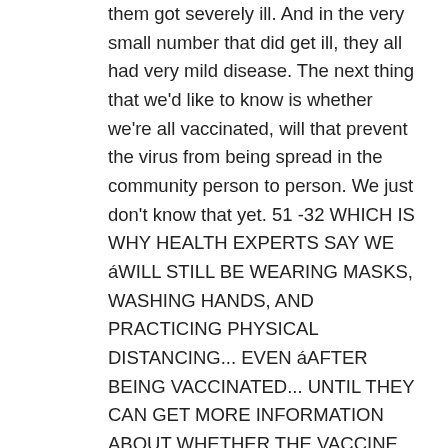them got severely ill. And in the very small number that did get ill, they all had very mild disease. The next thing that we'd like to know is whether we're all vaccinated, will that prevent the virus from being spread in the community person to person. We just don't know that yet. 51 -32 WHICH IS WHY HEALTH EXPERTS SAY WE áWILL STILL BE WEARING MASKS, WASHING HANDS, AND PRACTICING PHYSICAL DISTANCING... EVEN áAFTER BEING VACCINATED... UNTIL THEY CAN GET MORE INFORMATION ABOUT WHETHER THE VACCINE NOT ONLY PREVENTS DISEASE... BUT ALSO PREVENTS TRANSMISSION. SO ONCE YOU GET A COVID VACCINE...HOW LONG WILL IT PROTECT YOU? Dr. Radner: 09.27 We just don't know. There's a lot of literature coming out that even if antibodies wain, your immune system, memory t cells, memory b cells, they can rapidly make antibodies. you may have protection